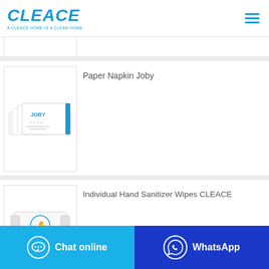[Figure (logo): CLEACE logo in blue italic bold text with tagline 'A CLEACE HOME IS A CLEAN HOME' below]
[Figure (photo): Product listing image placeholder at top (partially visible)]
Paper Napkin Joby
[Figure (photo): Paper Napkin Joby product image - white boxes with JOBY branding in blue]
Individual Hand Sanitizer Wipes CLEACE
[Figure (photo): Individual Hand Sanitizer Wipes CLEACE product image - white dispenser with blue circular icon]
Chat online
WhatsApp